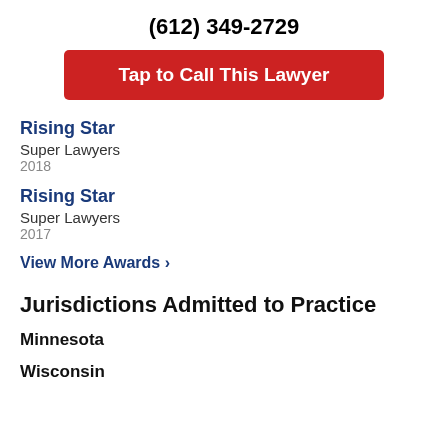(612) 349-2729
Tap to Call This Lawyer
Rising Star
Super Lawyers
2018
Rising Star
Super Lawyers
2017
View More Awards ›
Jurisdictions Admitted to Practice
Minnesota
Wisconsin